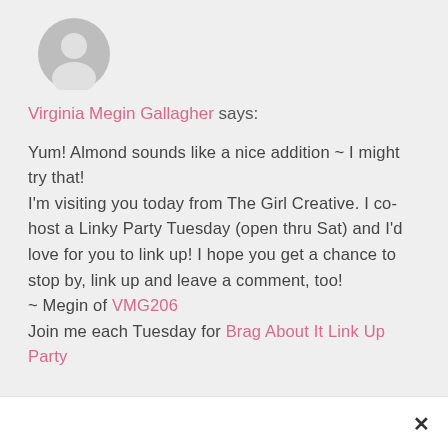[Figure (illustration): Generic gray user avatar circle icon]
Virginia Megin Gallagher says:
Yum! Almond sounds like a nice addition ~ I might try that!
I'm visiting you today from The Girl Creative. I co-host a Linky Party Tuesday (open thru Sat) and I'd love for you to link up! I hope you get a chance to stop by, link up and leave a comment, too!
~ Megin of VMG206
Join me each Tuesday for Brag About It Link Up Party